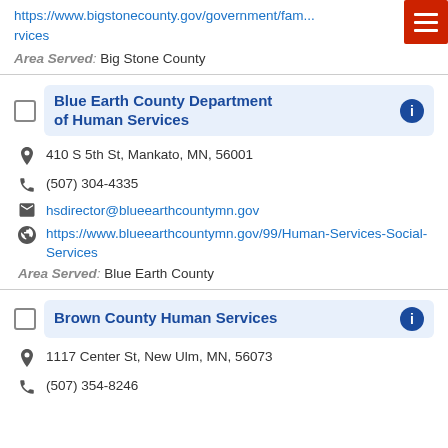https://www.bigstonecounty.gov/government/family-services
Area Served: Big Stone County
Blue Earth County Department of Human Services
410 S 5th St, Mankato, MN, 56001
(507) 304-4335
hsdirector@blueearthcountymn.gov
https://www.blueearthcountymn.gov/99/Human-Services-Social-Services
Area Served: Blue Earth County
Brown County Human Services
1117 Center St, New Ulm, MN, 56073
(507) 354-8246